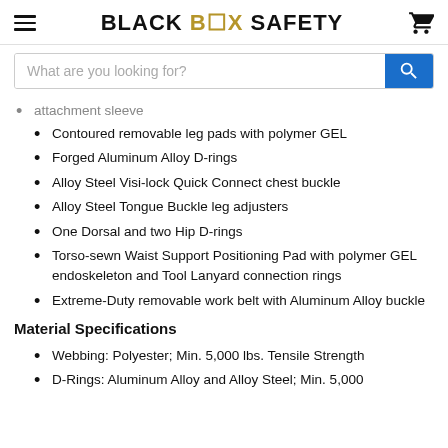BLACK BOX SAFETY
attachment sleeve
Contoured removable leg pads with polymer GEL
Forged Aluminum Alloy D-rings
Alloy Steel Visi-lock Quick Connect chest buckle
Alloy Steel Tongue Buckle leg adjusters
One Dorsal and two Hip D-rings
Torso-sewn Waist Support Positioning Pad with polymer GEL endoskeleton and Tool Lanyard connection rings
Extreme-Duty removable work belt with Aluminum Alloy buckle
Material Specifications
Webbing: Polyester; Min. 5,000 lbs. Tensile Strength
D-Rings: Aluminum Alloy and Alloy Steel; Min. 5,000